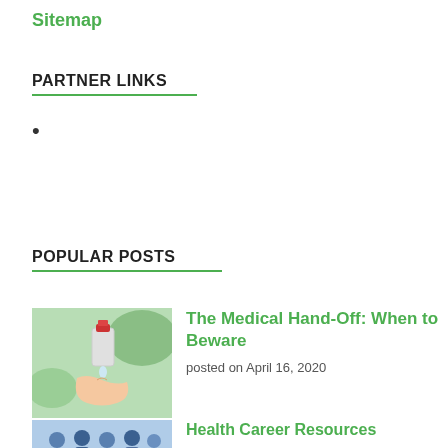Sitemap
PARTNER LINKS
•
POPULAR POSTS
[Figure (photo): Hands with a red-capped bottle dispensing liquid onto a palm]
The Medical Hand-Off: When to Beware
posted on April 16, 2020
[Figure (photo): Group of people in medical/professional attire]
Health Career Resources